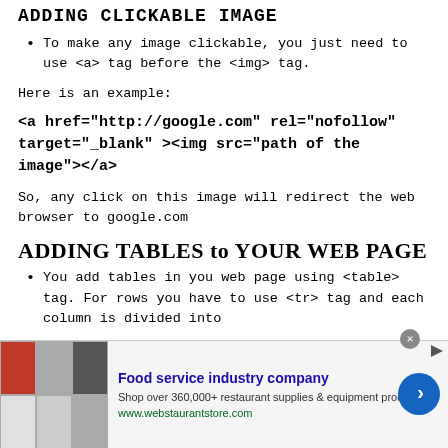ADDING CLICKABLE IMAGE
To make any image clickable, you just need to use <a> tag before the <img> tag.
Here is an example:
So, any click on this image will redirect the web browser to google.com
ADDING TABLES to YOUR WEB PAGE
You add tables in you web page using <table> tag. For rows you have to use <tr> tag and each column is divided into
[Figure (screenshot): Advertisement banner for Food service industry company - webstaurantstore.com]